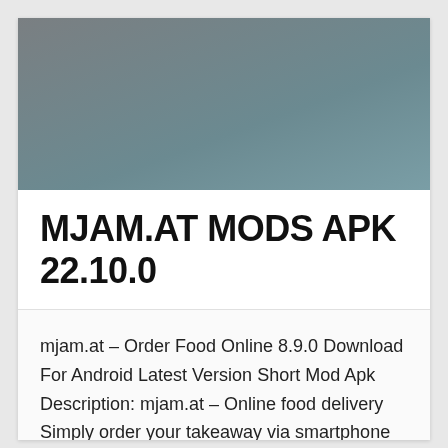[Figure (photo): Gradient image banner in grey-blue tones, resembling an app screenshot placeholder or blurred background.]
MJAM.AT MODS APK 22.10.0
mjam.at – Order Food Online 8.9.0 Download For Android Latest Version Short Mod Apk Description: mjam.at – Online food delivery Simply order your takeaway via smartphone and choose from more than 1.500 delivery services in Austria. You enjoy pizza,